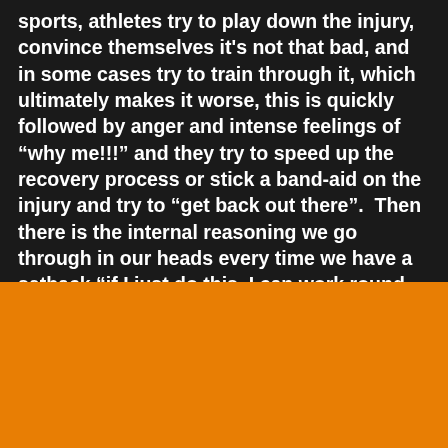sports, athletes try to play down the injury, convince themselves it's not that bad, and in some cases try to train through it, which ultimately makes it worse, this is quickly followed by anger and intense feelings of “why me!!!” and they try to speed up the recovery process or stick a band-aid on the injury and try to “get back out there”.  Then there is the internal reasoning we go through in our heads every time we have a setback “if I just do this, I can work round it” but this only leads to prolonging the injury and slowing the healing
We use cookies on our website to give you the most relevant experience by remembering your preferences and repeat visits. By clicking “Accept”, you consent to the use of ALL the cookies.
Cookie settings
ACCEPT